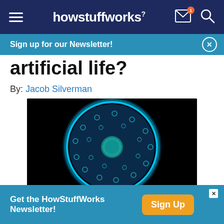howstuffworks
Sign up for our Newsletter!
artificial life?
By: Jacob Silverman
[Figure (photo): Microscopic image of a circular cell-like structure glowing blue against a black background, with a smaller teal sphere at its center and small circular structures distributed around the inner surface.]
Get the HowStuffWorks Newsletter!